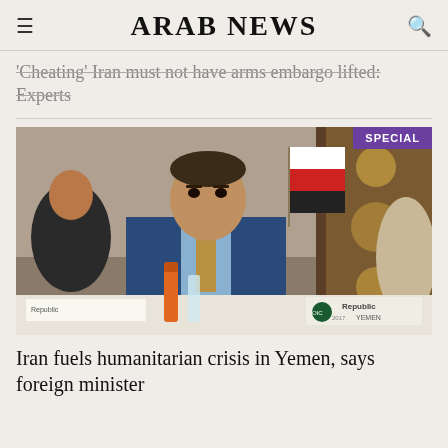ARAB NEWS
'Cheating' Iran must not have arms embargo lifted: Experts
[Figure (photo): Man in blue suit sitting at a conference table with a Yemen flag visible, a 'SPECIAL' badge in the top right corner of the image, and a nameplate reading 'Republic YEMEN' at the bottom right.]
Iran fuels humanitarian crisis in Yemen, says foreign minister